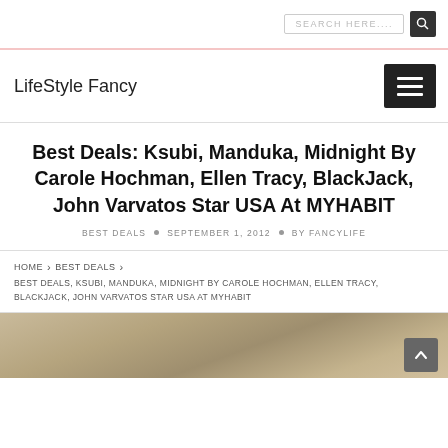SEARCH HERE....
LifeStyle Fancy
Best Deals: Ksubi, Manduka, Midnight By Carole Hochman, Ellen Tracy, BlackJack, John Varvatos Star USA At MYHABIT
BEST DEALS • SEPTEMBER 1, 2012 • BY FANCYLIFE
HOME › BEST DEALS › BEST DEALS, KSUBI, MANDUKA, MIDNIGHT BY CAROLE HOCHMAN, ELLEN TRACY, BLACKJACK, JOHN VARVATOS STAR USA AT MYHABIT
[Figure (photo): Bottom partial image strip showing what appears to be a retail/product photo in brown/tan tones]